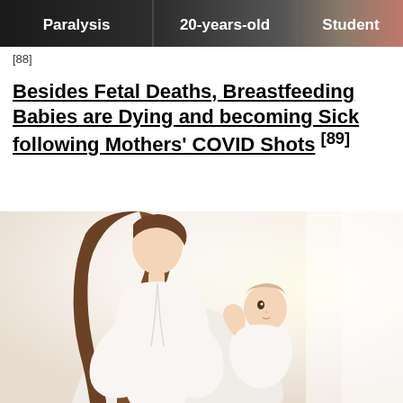[Figure (photo): Top image bar showing three panels: a person with 'Paralysis' label, a '20-years-old' label, and a 'Student' label on darker background]
[88]
Besides Fetal Deaths, Breastfeeding Babies are Dying and becoming Sick following Mothers' COVID Shots [89]
[Figure (photo): A mother in white dress holding and breastfeeding a baby, both dressed in white, bright background]